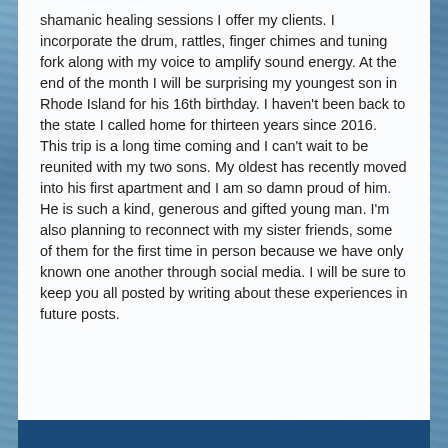shamanic healing sessions I offer my clients. I incorporate the drum, rattles, finger chimes and tuning fork along with my voice to amplify sound energy. At the end of the month I will be surprising my youngest son in Rhode Island for his 16th birthday. I haven't been back to the state I called home for thirteen years since 2016. This trip is a long time coming and I can't wait to be reunited with my two sons. My oldest has recently moved into his first apartment and I am so damn proud of him. He is such a kind, generous and gifted young man. I'm also planning to reconnect with my sister friends, some of them for the first time in person because we have only known one another through social media. I will be sure to keep you all posted by writing about these experiences in future posts.